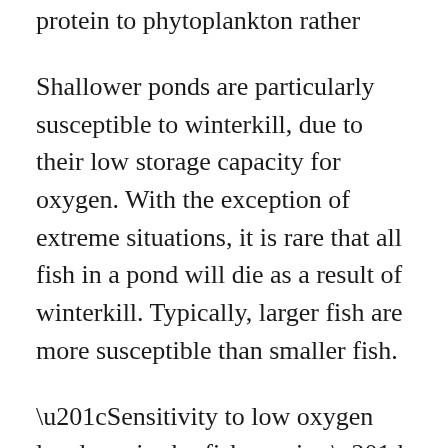protein to phytoplankton rather than…
Shallower ponds are particularly susceptible to winterkill, due to their low storage capacity for oxygen. With the exception of extreme situations, it is rare that all fish in a pond will die as a result of winterkill. Typically, larger fish are more susceptible than smaller fish.
“Sensitivity to low oxygen levels varies by fish species,” Clancy said. “For instance, catfish and carp are more tolerant of low oxygen levels than species such as sunfish, bass or trout.”
If desirable fish species are completely